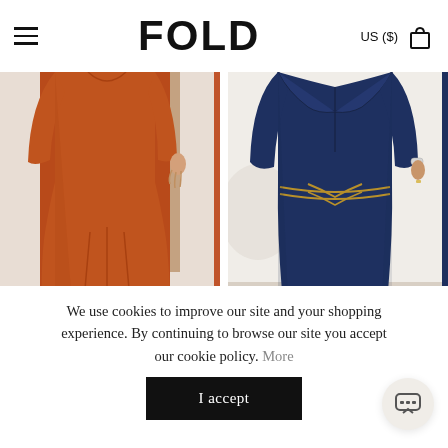FOLD  US ($)
[Figure (photo): Woman wearing a rust/burnt-orange long-sleeve midi dress with pleated skirt, photographed from neck down]
[Figure (photo): Woman wearing a navy blue wrap-style midi dress with gold piping detail at waist, photographed from neck down]
We use cookies to improve our site and your shopping experience. By continuing to browse our site you accept our cookie policy. More
I accept